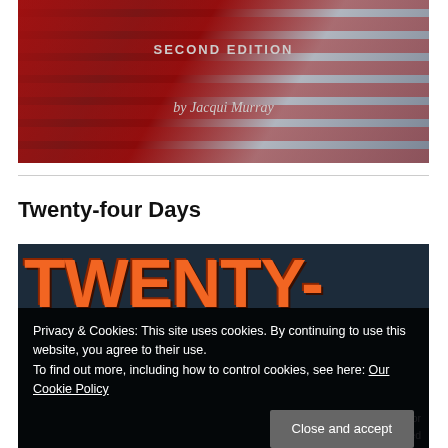[Figure (photo): Book cover image showing an American flag with red stripes and grey/blue tones, with text 'SECOND EDITION' and 'by Jacqui Murray' overlaid]
Twenty-four Days
[Figure (photo): Book cover for 'TWENTY-four DAYS' with large orange 3D text on a dark blue background]
Privacy & Cookies: This site uses cookies. By continuing to use this website, you agree to their use.
To find out more, including how to control cookies, see here: Our Cookie Policy
Close and accept